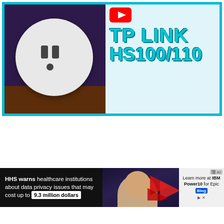[Figure (screenshot): YouTube video thumbnail for TP-LINK HS100/110 smart plug review. Left half shows a white smart plug against a dark purple background on a wooden table. Right half shows a YouTube play button icon and text 'TP LINK HS100/110' in cyan/teal bold letters on a light blue background.]
[Figure (screenshot): Advertisement banner. Left portion on black background reads 'HHS warns healthcare institutions about data privacy issues that may cost up to 9.3 million dollars'. Center shows a man with glasses against a dramatic background with a red arrow and money graphics. Right portion on light gray shows 'Learn more at IBM Power10 for Epic Blog' with a sponsored/ad indicator.]